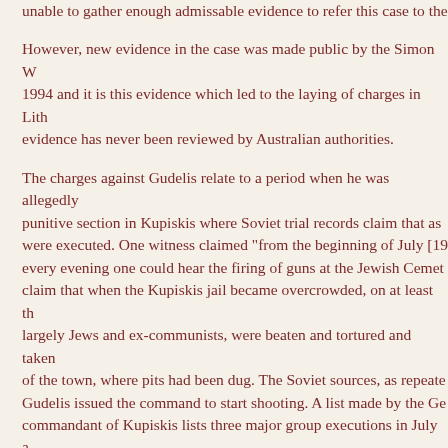unable to gather enough admissable evidence to refer this case to the
However, new evidence in the case was made public by the Simon W 1994 and it is this evidence which led to the laying of charges in Lith evidence has never been reviewed by Australian authorities.
The charges against Gudelis relate to a period when he was allegedly punitive section in Kupiskis where Soviet trial records claim that as were executed. One witness claimed "from the beginning of July [19 every evening one could hear the firing of guns at the Jewish Cemet claim that when the Kupiskis jail became overcrowded, on at least th largely Jews and ex-communists, were beaten and tortured and taken of the town, where pits had been dug. The Soviet sources, as repeate Gudelis issued the command to start shooting. A list made by the Ge commandant of Kupiskis lists three major group executions in July a
The SIU was able to find witnesses that affirm that Gudelis was in K August of 1941, that he was joined by other ex-Lithuanian soldiers i Germans, and that some of their duties included working on the exec
There are also allegations relating to Gudelis' actions after August 2 the city of Kaunas and was made an officer in the Auxiliary Police S Nazi collaborator unit. Documents obtained by the Wiesenthal Centr September, Gudelis was sent as an officer in the 3rd Auxiliary Police provincial towns in Southern Lithuania , including probably Leipilin At the time Gudelis was supposed to be in the area, the Jewish com